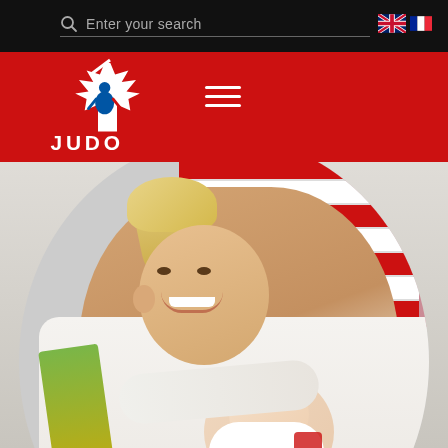Enter your search — Judo Canada website header with search bar and language flags (EN/FR)
[Figure (logo): Judo Canada logo: maple leaf with judo figure and JUDO text, white on red background]
[Figure (photo): A smiling woman in a white judo gi (name ANCIC visible) holding a newborn baby, with a partial Team Canada / USA flag banner in the background]